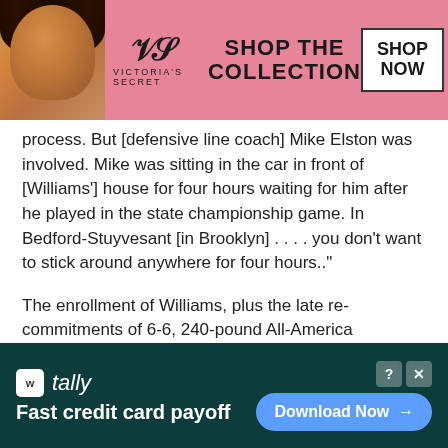[Figure (photo): Victoria's Secret banner advertisement with a model, VS logo, 'SHOP THE COLLECTION' text, and a 'SHOP NOW' button on pink background]
process. But [defensive line coach] Mike Elston was involved. Mike was sitting in the car in front of [Williams'] house for four hours waiting for him after he played in the state championship game. In Bedford-Stuyvesant [in Brooklyn] . . . . you don't want to stick around anywhere for four hours.."
The enrollment of Williams, plus the late recommitments of 6-6, 240-pound All-America defensive end Aaron Lynch of Island Coast, Fla., and 6-5, 255-pound defensive end Stephon Tuitt of Monroe, Ga., gave Notre Dame a group of defensive line prospects that recruiting expert Tom
[Figure (photo): Tally app advertisement - 'Fast credit card payoff' with Download Now button on dark teal background]